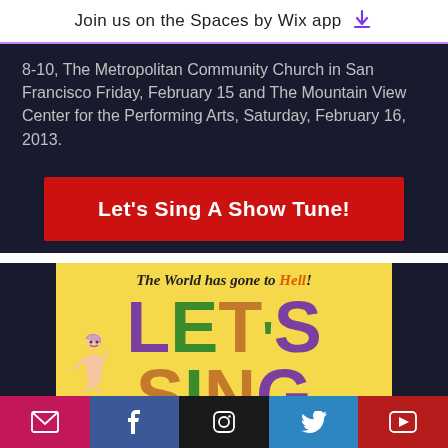Join us on the Spaces by Wix app
8-10, The Metropolitan Community Church in San Francisco Friday, February 15 and The Mountain View Center for the Performing Arts, Saturday, February 16, 2013.
Let's Sing A Show Tune!
[Figure (illustration): Album cover or promotional image with yellow background, text 'The World has gone to Hell! LET'S SING' in large colorful block letters with cartoon characters]
Social media icons: email, Facebook, Instagram, Twitter, YouTube